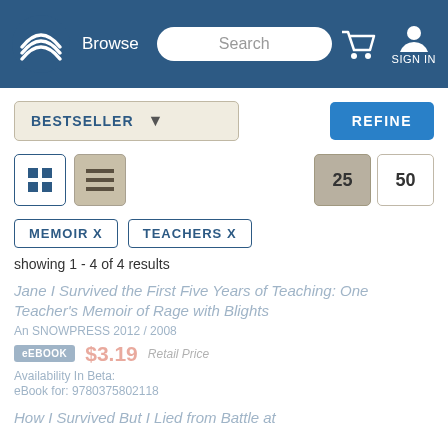Browse | Search | Cart | SIGN IN
BESTSELLER (dropdown) | REFINE
[Figure (screenshot): Grid view and list view toggle buttons, with 25 and 50 per page selectors]
MEMOIR X
TEACHERS X
showing 1 - 4 of 4 results
Jane I Survived the First Five Years of Teaching: One Teacher's Memoir of Rage with Blights
An SNOWPRESS 2012 / 2008
$3.19 Retail Price
Availability In Beta: eBook for: 9780375802118
How I Survived But I Lied from Battle at